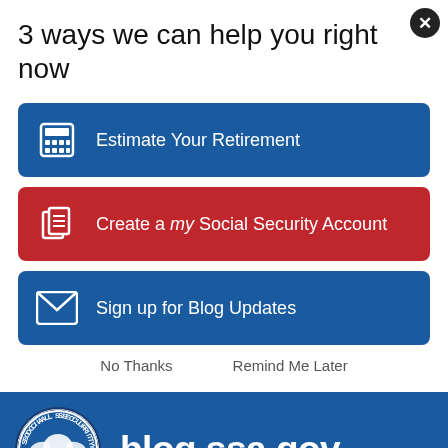3 ways we can help you right now
[Figure (infographic): Blue button: calculator icon + 'Estimate Your Retirement']
[Figure (infographic): Red button: document icon + 'Create a my Social Security Account']
[Figure (infographic): Blue button: envelope icon + 'Sign up for Blog Updates']
No Thanks    Remind Me Later
[Figure (logo): Social Security Administration USA seal/logo]
blog.ssa.gov
Tattooing (three-dimensional micropigmentation of the nipple and areola)